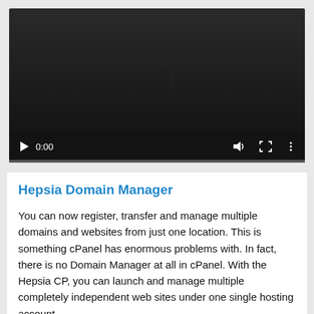[Figure (screenshot): Video player with dark background showing a loading spinner arc, playback controls (play button, time display '0:00', volume icon, fullscreen icon, more options icon), and a progress bar at the bottom.]
Hepsia Domain Manager
You can now register, transfer and manage multiple domains and websites from just one location. This is something cPanel has enormous problems with. In fact, there is no Domain Manager at all in cPanel. With the Hepsia CP, you can launch and manage multiple completely independent web sites under one single hosting account.